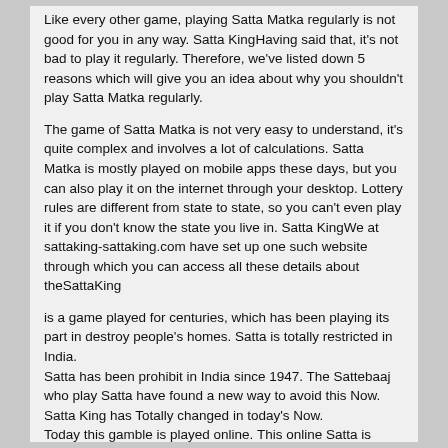Like every other game, playing Satta Matka regularly is not good for you in any way. Satta KingHaving said that, it's not bad to play it regularly. Therefore, we've listed down 5 reasons which will give you an idea about why you shouldn't play Satta Matka regularly.
The game of Satta Matka is not very easy to understand, it's quite complex and involves a lot of calculations. Satta Matka is mostly played on mobile apps these days, but you can also play it on the internet through your desktop. Lottery rules are different from state to state, so you can't even play it if you don't know the state you live in. Satta KingWe at sattaking-sattaking.com have set up one such website through which you can access all these details about theSattaKing
is a game played for centuries, which has been playing its part in destroy people's homes. Satta is totally restricted in India.
Satta has been prohibit in India since 1947. The Sattebaaj who play Satta have found a new way to avoid this Now. Satta King has Totally changed in today's Now.
Today this gamble is played online. This online Satta is played like SattaKing or Satta.Hockey began to be played in English schools in the late 19th century, and the first men's hockey club, at Blackheath in southeastern London, recorded a minute book in 1861. Teddington, another London club, introduced several major variations, including the ban of using hands or lifting sticks above the shoulder, the replacement of the rubber cube by a sphere as the ball, and most importantly, the adopting of a striking circle, which was incorporated into Satta Kingthe rules of the newly founded Hockey Association in London in 1886.